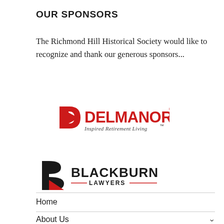OUR SPONSORS
The Richmond Hill Historical Society would like to recognize and thank our generous sponsors...
[Figure (logo): Delmanor logo — red triangle-D mark followed by DELMANOR in red with registered trademark symbol, subtitle 'Inspired Retirement Living' in italic with trademark symbol]
[Figure (logo): Blackburn Lawyers logo — stylized B mark in black and red, followed by BLACKBURN in bold black and LAWYERS in smaller caps with red decorative lines]
Home
About Us